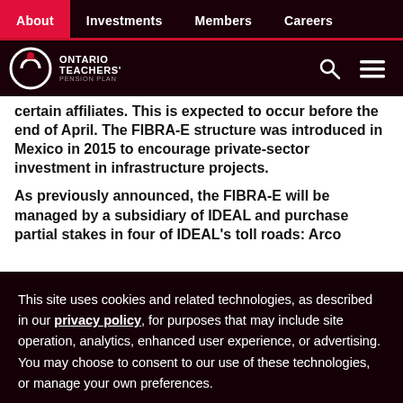About | Investments | Members | Careers
[Figure (logo): Ontario Teachers' Pension Plan logo with circular icon and text]
certain affiliates. This is expected to occur before the end of April. The FIBRA-E structure was introduced in Mexico in 2015 to encourage private-sector investment in infrastructure projects.
As previously announced, the FIBRA-E will be managed by a subsidiary of IDEAL and purchase partial stakes in four of IDEAL's toll roads: Arco Norte, Circuito Interior...
This site uses cookies and related technologies, as described in our privacy policy, for purposes that may include site operation, analytics, enhanced user experience, or advertising. You may choose to consent to our use of these technologies, or manage your own preferences.
Manage
Decline
Accept